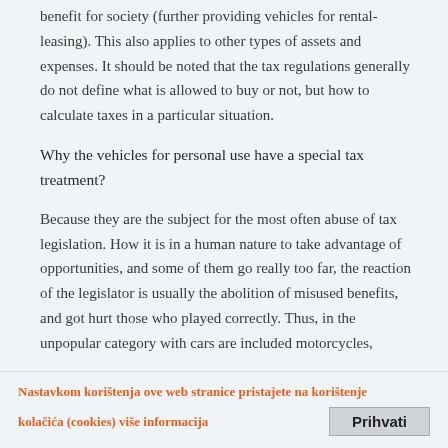benefit for society (further providing vehicles for rental-leasing). This also applies to other types of assets and expenses. It should be noted that the tax regulations generally do not define what is allowed to buy or not, but how to calculate taxes in a particular situation.
Why the vehicles for personal use have a special tax treatment?
Because they are the subject for the most often abuse of tax legislation. How it is in a human nature to take advantage of opportunities, and some of them go really too far, the reaction of the legislator is usually the abolition of misused benefits, and got hurt those who played correctly. Thus, in the unpopular category with cars are included motorcycles,
boats, planes and other assets for personal use.
VAT